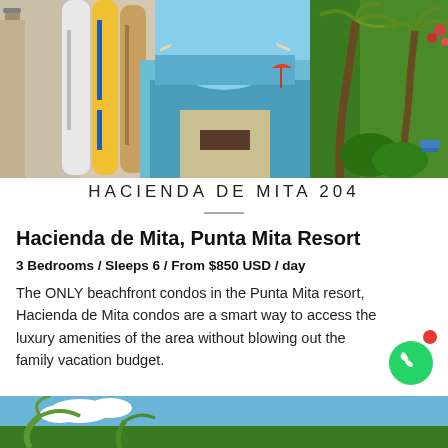[Figure (photo): Beach resort photo showing surfboards leaning against a wall on the left, a pool/walkway leading to the ocean in the center, and palm trees on the right at Hacienda de Mita, Punta Mita Resort]
HACIENDA DE MITA 204
Hacienda de Mita, Punta Mita Resort
3 Bedrooms / Sleeps 6 / From $850 USD / day
The ONLY beachfront condos in the Punta Mita resort, Hacienda de Mita condos are a smart way to access the luxury amenities of the area without blowing out the family vacation budget.
[Figure (photo): Partial view of a blue sky and palm trees at the bottom of the page]